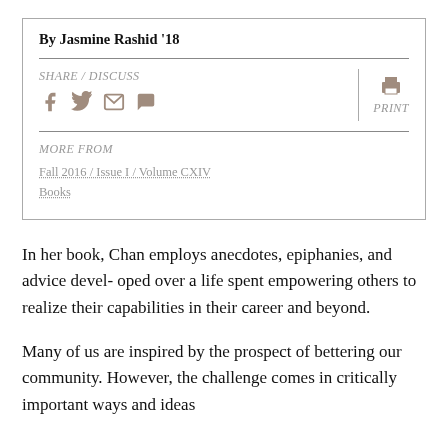By Jasmine Rashid '18
SHARE / DISCUSS   PRINT
MORE FROM
Fall 2016 / Issue I / Volume CXIV
Books
In her book, Chan employs anecdotes, epiphanies, and advice devel- oped over a life spent empowering others to realize their capabilities in their career and beyond.
Many of us are inspired by the prospect of bettering our community. However, the challenge comes in critically important ways and ideas...